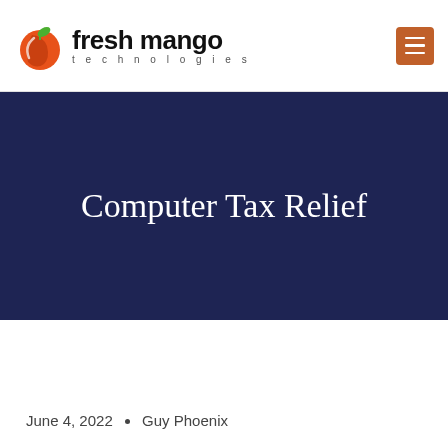[Figure (logo): Fresh Mango Technologies logo with orange/green mango icon and company name in black text with menu button]
Computer Tax Relief
June 4, 2022 • Guy Phoenix